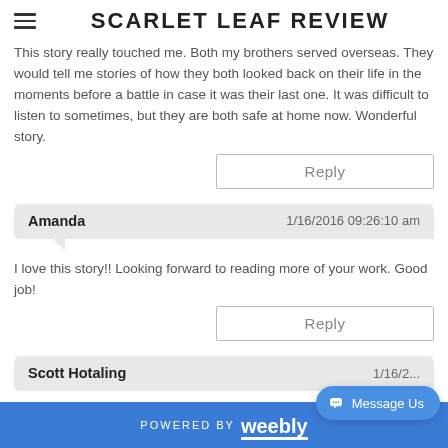SCARLET LEAF REVIEW
This story really touched me. Both my brothers served overseas. They would tell me stories of how they both looked back on their life in the moments before a battle in case it was their last one. It was difficult to listen to sometimes, but they are both safe at home now. Wonderful story.
Reply
Amanda  1/16/2016 09:26:10 am
I love this story!! Looking forward to reading more of your work. Good job!
Reply
Scott Hotaling  1/16/2...
POWERED BY weebly